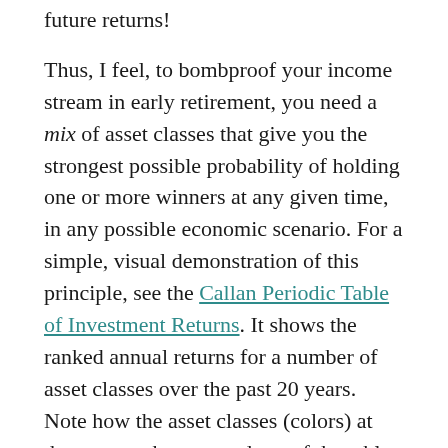future returns!
Thus, I feel, to bombproof your income stream in early retirement, you need a mix of asset classes that give you the strongest possible probability of holding one or more winners at any given time, in any possible economic scenario. For a simple, visual demonstration of this principle, see the Callan Periodic Table of Investment Returns. It shows the ranked annual returns for a number of asset classes over the past 20 years. Note how the asset classes (colors) at the extreme bottom and top of the table trade places regularly: This year's winner can become next year's dog, and vice-versa, on and on ad infinitum….